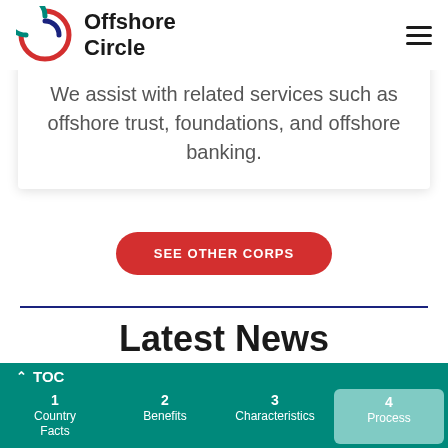Offshore Circle
We assist with related services such as offshore trust, foundations, and offshore banking.
SEE OTHER CORPS
Latest News
[Figure (photo): Photo of a coffee cup on a wooden table, partial view]
TOC
1 Country Facts
2 Benefits
3 Characteristics
4 Process